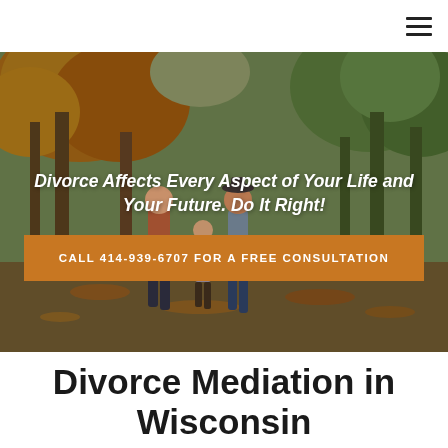[Figure (photo): A family (man, woman, and child) walking through an autumn park with orange and yellow leaves on trees, viewed from behind.]
Divorce Affects Every Aspect of Your Life and Your Future. Do It Right!
CALL 414-939-6707 FOR A FREE CONSULTATION
Divorce Mediation in Wisconsin